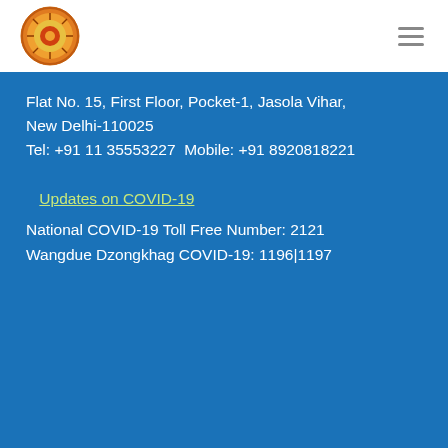[Figure (logo): Circular emblem/logo with orange and gold design]
Flat No. 15, First Floor, Pocket-1, Jasola Vihar,
New Delhi-110025
Tel: +91 11 35553227 Mobile: +91 8920818221
Updates on COVID-19
National COVID-19 Toll Free Number: 2121
Wangdue Dzongkhag COVID-19: 1196|1197